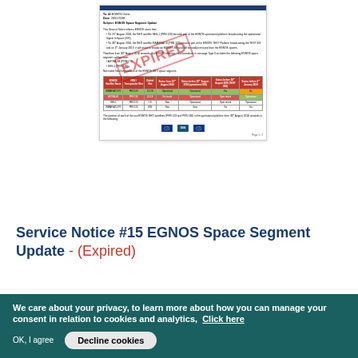[Figure (screenshot): Document preview of EGNOS Service Notice #15 with EXPIRED stamp overlay, showing header, bullet points, a colored table, logos, and page number]
Service Notice #15 EGNOS Space Segment Update - (Expired)
We care about your privacy, to learn more about how you can manage your consent in relation to cookies and analytics,  Click here
OK, I agree
Decline cookies